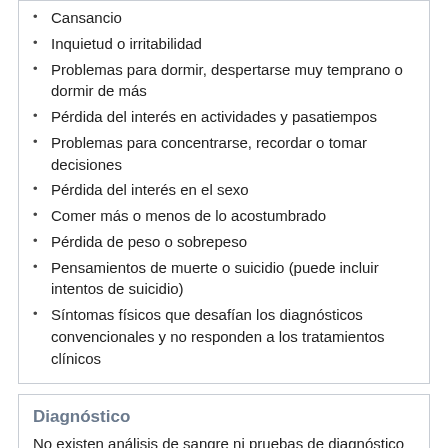Cansancio
Inquietud o irritabilidad
Problemas para dormir, despertarse muy temprano o dormir de más
Pérdida del interés en actividades y pasatiempos
Problemas para concentrarse, recordar o tomar decisiones
Pérdida del interés en el sexo
Comer más o menos de lo acostumbrado
Pérdida de peso o sobrepeso
Pensamientos de muerte o suicidio (puede incluir intentos de suicidio)
Síntomas físicos que desafían los diagnósticos convencionales y no responden a los tratamientos clínicos
Diagnóstico
No existen análisis de sangre ni pruebas de diagnóstico para detectar la depresión. Se le preguntará acerca de sus síntomas y antecedentes clínicos. Por lo general, la depresión se diagnostica según la duración, la frecuencia, la